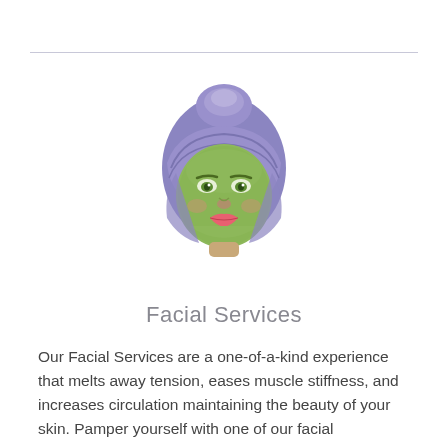[Figure (illustration): Illustration of a woman's face with a green facial mask and a lavender/periwinkle towel wrapped around her head.]
Facial Services
Our Facial Services are a one-of-a-kind experience that melts away tension, eases muscle stiffness, and increases circulation maintaining the beauty of your skin. Pamper yourself with one of our facial treatments.